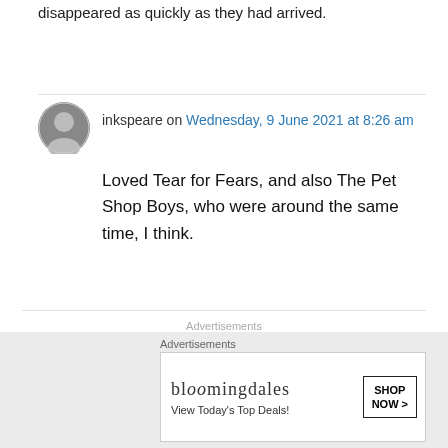disappeared as quickly as they had arrived.
inkspeare on Wednesday, 9 June 2021 at 8:26 am
Loved Tear for Fears, and also The Pet Shop Boys, who were around the same time, I think.
[Figure (other): Pocket Casts advertisement banner - red background with Pocket Casts logo and text]
[Figure (other): Bloomingdales advertisement - View Today's Top Deals! Shop Now >]